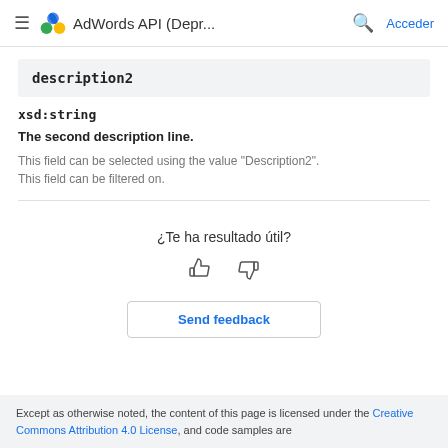AdWords API (Depr... | Acceder
description2
xsd:string
The second description line.
This field can be selected using the value "Description2".
This field can be filtered on.
¿Te ha resultado útil?
Send feedback
Except as otherwise noted, the content of this page is licensed under the Creative Commons Attribution 4.0 License, and code samples are